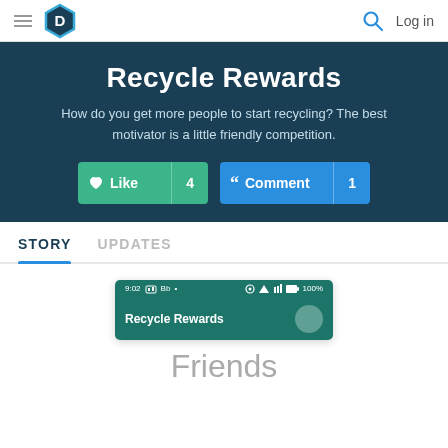D | Log in
Recycle Rewards
How do you get more people to start recycling? The best motivator is a little friendly competition.
[Figure (screenshot): App screenshot showing Recycle Rewards mobile app header with status bar showing 9:02, Bb, and 100% battery, teal app bar with title Recycle Rewards]
STORY
UPDATES
Friends